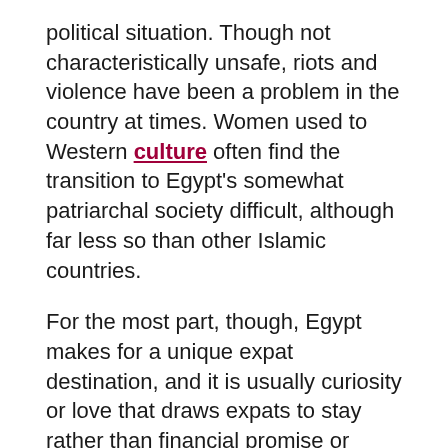political situation. Though not characteristically unsafe, riots and violence have been a problem in the country at times. Women used to Western culture often find the transition to Egypt's somewhat patriarchal society difficult, although far less so than other Islamic countries.
For the most part, though, Egypt makes for a unique expat destination, and it is usually curiosity or love that draws expats to stay rather than financial promise or luxury living. Although the country has its business incentives, it isn't an internationally recognised industrial centre. Still, entrepreneurs may find new emerging markets and opportunities, as the country is actively promoting itself on a global front.
Expats should have no problem finding suitable accommodation in Egypt. Options range from simple studios to fully furnished condos and large villas. Getting around in Egypt can be an adventure as there are varied modes of transportation available, from overcrowded buses and minivans to first-class trains. A modern